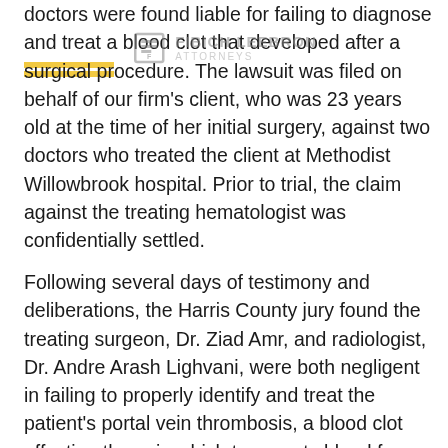doctors were found liable for failing to diagnose and treat a blood clot that developed after a surgical procedure. The lawsuit was filed on behalf of our firm's client, who was 23 years old at the time of her initial surgery, against two doctors who treated the client at Methodist Willowbrook hospital. Prior to trial, the claim against the treating hematologist was confidentially settled.
[Figure (logo): Fibich Leebron law firm logo watermark overlaid on text]
Following several days of testimony and deliberations, the Harris County jury found the treating surgeon, Dr. Ziad Amr, and radiologist, Dr. Andre Arash Lighvani, were both negligent in failing to properly identify and treat the patient's portal vein thrombosis, a blood clot affecting the vein which transports blood from the intestines to